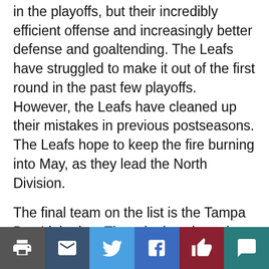in the playoffs, but their incredibly efficient offense and increasingly better defense and goaltending. The Leafs have struggled to make it out of the first round in the past few playoffs. However, the Leafs have cleaned up their mistakes in previous postseasons. The Leafs hope to keep the fire burning into May, as they lead the North Division.
The final team on the list is the Tampa Bay Lightning. The reigning champions are still running through the Central Division. The highly competitive division is led by the Carolina Hurricanes and the Lightning, but the Bolts have proven themselves. Most of their roster returned to defend their title, and there are no doubts about their ability to win. The Bolts head into the playoffs a certain favorite.